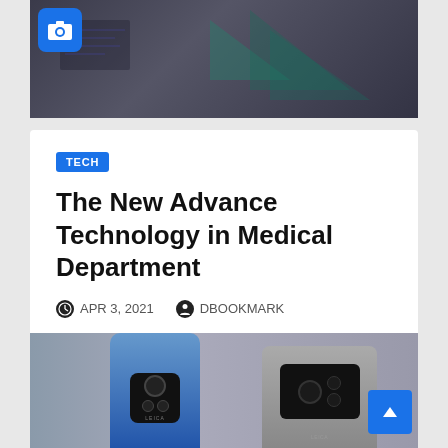[Figure (photo): Dark themed screenshot or device photo at top of page with a camera icon overlay in the top-left corner]
TECH
The New Advance Technology in Medical Department
APR 3, 2021   DBOOKMARK
We are, indeed, living in the information age, with self-driving vehicles in the automotive industry and delivery drones in e-commerce....
[Figure (photo): Two smartphones (one blue, one grey) shown from the back, displaying camera setups, on a grey background]